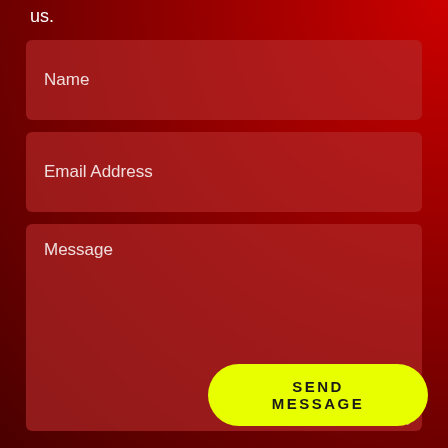us.
Name
Email Address
Message
SEND MESSAGE